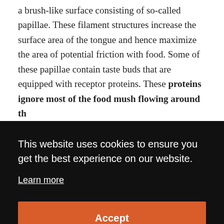a brush-like surface consisting of so-called papillae. These filament structures increase the surface area of the tongue and hence maximize the area of potential friction with food. Some of these papillae contain taste buds that are equipped with receptor proteins. These proteins ignore most of the food mush flowing around th...
This website uses cookies to ensure you get the best experience on our website. Learn more [button: Accept]
examples: compounds with Sodium ions